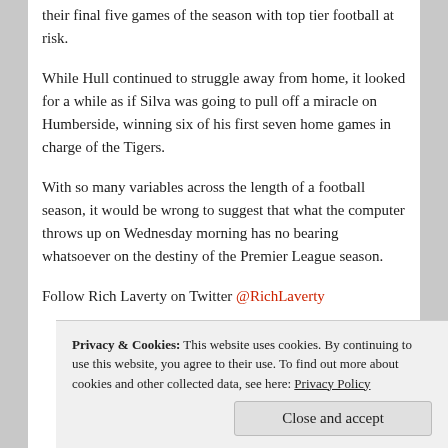their final five games of the season with top tier football at risk.
While Hull continued to struggle away from home, it looked for a while as if Silva was going to pull off a miracle on Humberside, winning six of his first seven home games in charge of the Tigers.
With so many variables across the length of a football season, it would be wrong to suggest that what the computer throws up on Wednesday morning has no bearing whatsoever on the destiny of the Premier League season.
Follow Rich Laverty on Twitter @RichLaverty
Privacy & Cookies: This website uses cookies. By continuing to use this website, you agree to their use. To find out more about cookies and other collected data, see here: Privacy Policy
Close and accept